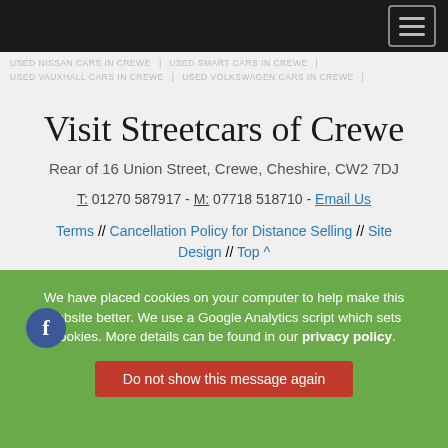USED NISSAN CARS IN CREWE | USED SMART CARS IN CREWE | USED VAUXHALL CARS IN CREWE | USED VOLKSWAGEN CARS IN CREWE
Visit Streetcars of Crewe
Rear of 16 Union Street, Crewe, Cheshire, CW2 7DJ
T: 01270 587917 - M: 07718 518710 - Email Us
Terms // Cancellation Policy for Distance Selling // Site Design // Top ^
Social
We have placed cookies on your computer to help make this website better. We use a Google Analytics script which sets cookies. More details can be found in our privacy policy.